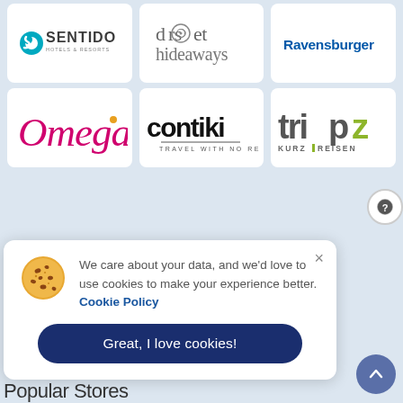[Figure (logo): Sentido Hotels & Resorts logo — teal swoosh icon with SENTIDO text]
[Figure (logo): Dorset Hideaways logo — stylised text with snail shell in letter 'o']
[Figure (logo): Ravensburger logo — bold blue text]
[Figure (logo): Omega travel logo — italic pink/magenta cursive text with small gold dot]
[Figure (logo): Contiki logo — bold black text with 'TRAVEL WITH NO REGRETS' tagline]
[Figure (logo): Tripz Kurzreisen logo — dark grey and lime green bold text]
We care about your data, and we'd love to use cookies to make your experience better. Cookie Policy
Great, I love cookies!
Popular Stores